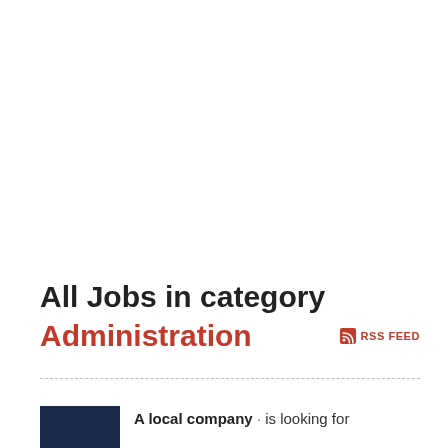All Jobs in category Administration
RSS FEED
A local company · is looking for